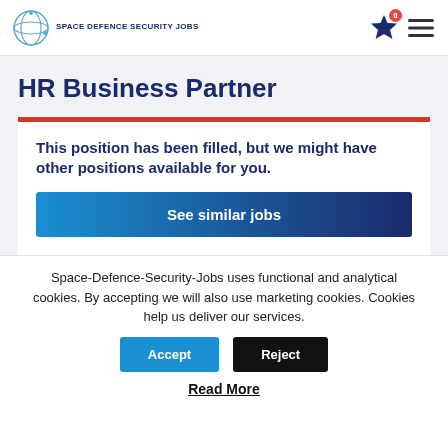SPACE DEFENCE SECURITY JOBS
HR Business Partner
This position has been filled, but we might have other positions available for you.
See similar jobs
Space-Defence-Security-Jobs uses functional and analytical cookies. By accepting we will also use marketing cookies. Cookies help us deliver our services.
Accept
Reject
Read More